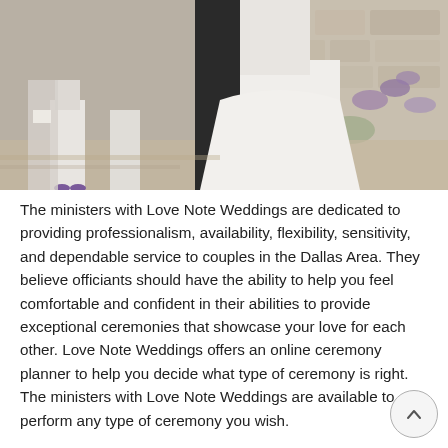[Figure (photo): Wedding photo showing a bride in a white dress and groom in dark suit from torso down, with flower girls and other attendees in the background at an outdoor venue with stone walls and purple flowers.]
The ministers with Love Note Weddings are dedicated to providing professionalism, availability, flexibility, sensitivity, and dependable service to couples in the Dallas Area. They believe officiants should have the ability to help you feel comfortable and confident in their abilities to provide exceptional ceremonies that showcase your love for each other. Love Note Weddings offers an online ceremony planner to help you decide what type of ceremony is right. The ministers with Love Note Weddings are available to perform any type of ceremony you wish.